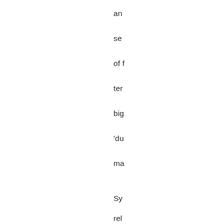an
se
of
ter
big
'du
ma
Sy
rel
its
(th
ne
ve
cal
S^
at